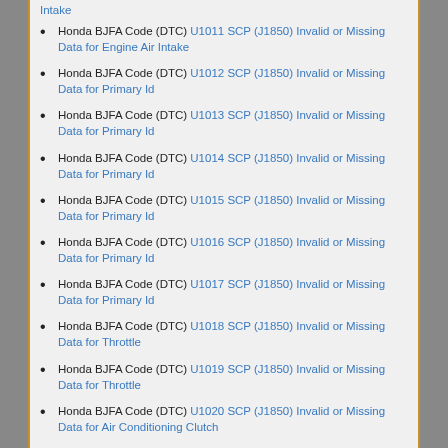Honda BJFA Code (DTC) U1011 SCP (J1850) Invalid or Missing Data for Engine Air Intake
Honda BJFA Code (DTC) U1012 SCP (J1850) Invalid or Missing Data for Primary Id
Honda BJFA Code (DTC) U1013 SCP (J1850) Invalid or Missing Data for Primary Id
Honda BJFA Code (DTC) U1014 SCP (J1850) Invalid or Missing Data for Primary Id
Honda BJFA Code (DTC) U1015 SCP (J1850) Invalid or Missing Data for Primary Id
Honda BJFA Code (DTC) U1016 SCP (J1850) Invalid or Missing Data for Primary Id
Honda BJFA Code (DTC) U1017 SCP (J1850) Invalid or Missing Data for Primary Id
Honda BJFA Code (DTC) U1018 SCP (J1850) Invalid or Missing Data for Throttle
Honda BJFA Code (DTC) U1019 SCP (J1850) Invalid or Missing Data for Throttle
Honda BJFA Code (DTC) U1020 SCP (J1850) Invalid or Missing Data for Air Conditioning Clutch